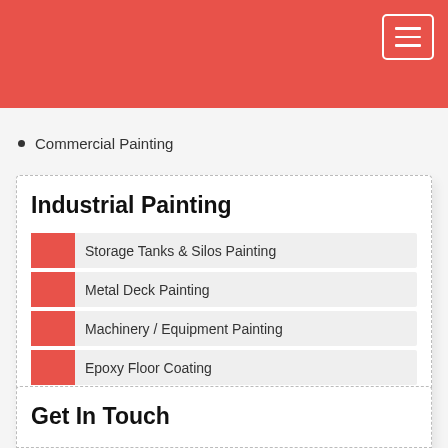(navigation header bar with hamburger menu)
Commercial Painting
Industrial Painting
Storage Tanks & Silos Painting
Metal Deck Painting
Machinery / Equipment Painting
Epoxy Floor Coating
Metal Siding Painting
Warehouse & Facility Painting
Get In Touch